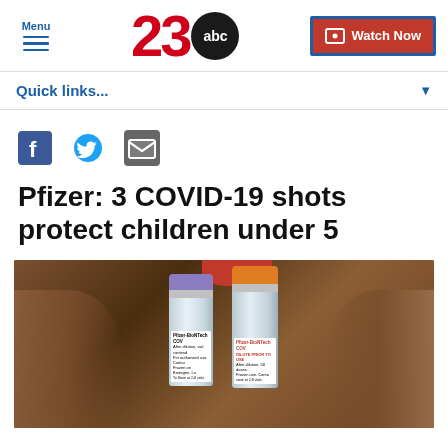Menu | 23 abc | Watch Now
Quick links...
[Figure (other): Social sharing icons: Facebook, Twitter, Email]
Pfizer: 3 COVID-19 shots protect children under 5
[Figure (photo): Close-up photograph of hands holding two Pfizer-BioNTech COVID vaccine vials, one with a purple cap and one with an orange cap]